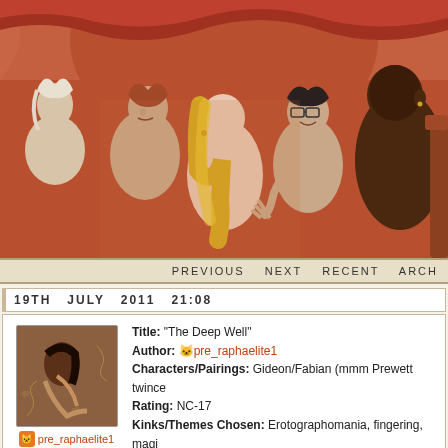[Figure (illustration): Digital illustration showing several nude figures in a warm reddish-orange interior setting. A blonde woman with her back turned, a man with glasses, a dark-skinned man, and two other figures in the background.]
PREVIOUS   NEXT   RECENT   ARCH
19TH JULY 2011 21:08
Title: "The Deep Well"
Author: pre_raphaelite1
Characters/Pairings: Gideon/Fabian (mmm Prewett twince
Rating: NC-17
Kinks/Themes Chosen: Erotographomania, fingering, magi
Other Warnings: dub-con, slight d/s, slight food smut, orgas
Word Count: 1100
Summary/Description: In which Fabian experiments on Gid